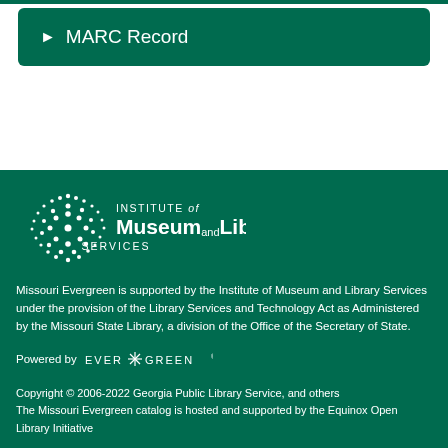► MARC Record
[Figure (logo): Institute of Museum and Library Services logo — white starburst/dots pattern on the left, text 'INSTITUTE of Museum and Library SERVICES' in white on dark green background]
Missouri Evergreen is supported by the Institute of Museum and Library Services under the provision of the Library Services and Technology Act as Administered by the Missouri State Library, a division of the Office of the Secretary of State.
Powered by EVERGREEN
Copyright © 2006-2022 Georgia Public Library Service, and others
The Missouri Evergreen catalog is hosted and supported by the Equinox Open Library Initiative